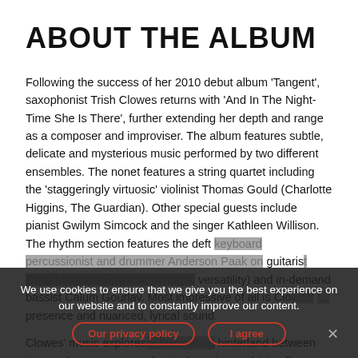ABOUT THE ALBUM
Following the success of her 2010 debut album ‘Tangent’, saxophonist Trish Clowes returns with ‘And In The Night-Time She Is There’, further extending her depth and range as a composer and improviser. The album features subtle, delicate and mysterious music performed by two different ensembles. The nonet features a string quartet including the ‘staggeringly virtuosic’ violinist Thomas Gould (Charlotte Higgins, The Guardian). Other special guests include pianist Gwilym Simcock and the singer Kathleen Willison. The rhythm section features the deft … guitarist … versatility) and in-demand bassist Calum Gourlay. Most impressive of all is Clowes’ … presence and nuanced, lyrical sound.

Clowes’ music explores a fascinating hinterland between jazz and contemporary classical music, combining fluent improvisation with languid, evocative melodic lines and
We use cookies to ensure that we give you the best experience on our website and to constantly improve our content.
Our privacy policy
I agree